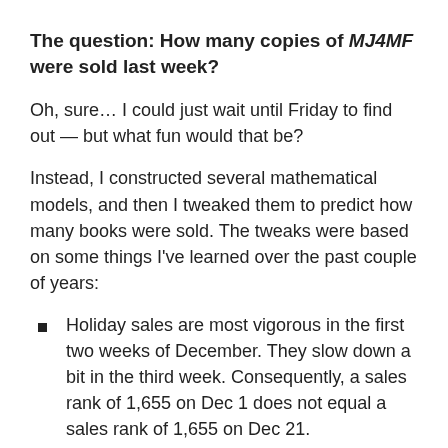The question: How many copies of MJ4MF were sold last week?
Oh, sure… I could just wait until Friday to find out — but what fun would that be?
Instead, I constructed several mathematical models, and then I tweaked them to predict how many books were sold. The tweaks were based on some things I've learned over the past couple of years:
Holiday sales are most vigorous in the first two weeks of December. They slow down a bit in the third week. Consequently, a sales rank of 1,655 on Dec 1 does not equal a sales rank of 1,655 on Dec 21.
The long-term trend is not linear. In fact, this graph from Foner Books shows that it's logarithmic.